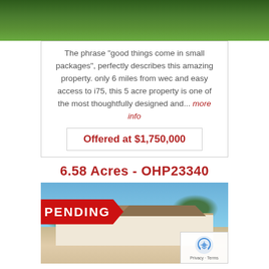[Figure (photo): Green grass lawn, aerial or close-up view]
The phrase "good things come in small packages", perfectly describes this amazing property. only 6 miles from wec and easy access to i75, this 5 acre property is one of the most thoughtfully designed and... more info
Offered at $1,750,000
6.58 Acres - OHP23340
[Figure (photo): House photo with PENDING banner overlay and reCAPTCHA badge]